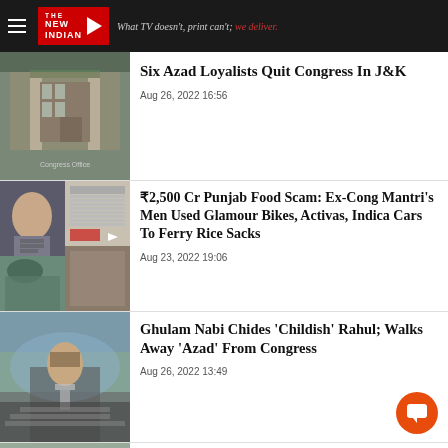THE NEW INDIAN — What TV doesn't, print can't; we deliver.
Six Azad Loyalists Quit Congress In J&K
Aug 26, 2022 16:56
[Figure (photo): Photo of a building gate with green banner, likely a Congress office in J&K]
₹2,500 Cr Punjab Food Scam: Ex-Cong Mantri's Men Used Glamour Bikes, Activas, Indica Cars To Ferry Rice Sacks
Aug 23, 2022 19:06
[Figure (photo): Composite photo showing a bearded man, documents/spreadsheets, and other images related to Punjab food scam]
Ghulam Nabi Chides 'Childish' Rahul; Walks Away 'Azad' From Congress
Aug 26, 2022 13:49
[Figure (photo): Photo of Ghulam Nabi Azad speaking at a public gathering in mountainous region]
UP Leader Plans Show Of